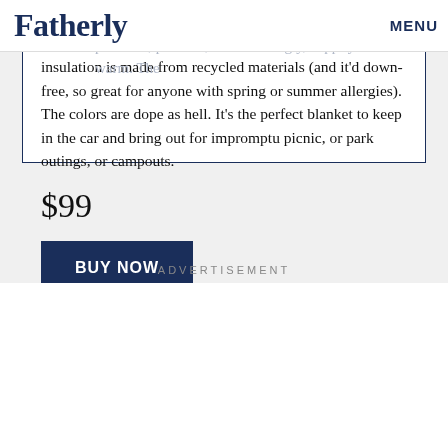Fatherly  MENU
as a puffy coat, but in blanket form. It's packable, portable, and shockingly, happily warm. The insulation is made from recycled materials (and it'd down-free, so great for anyone with spring or summer allergies). The colors are dope as hell. It's the perfect blanket to keep in the car and bring out for impromptu picnic, or park outings, or campouts.
$99
BUY NOW
ADVERTISEMENT